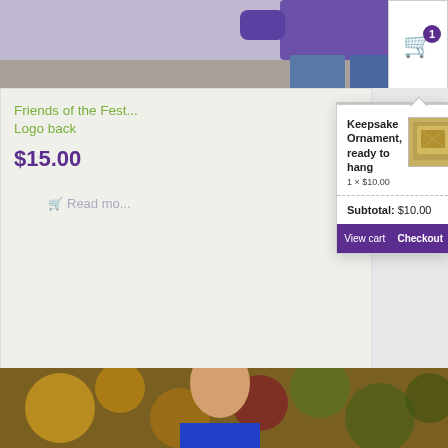[Figure (photo): Top portion of a person wearing a purple long-sleeve shirt and jeans, cropped at the torso, with a blurred outdoor background]
[Figure (screenshot): Shopping cart popup widget showing: Keepsake Ornament, ready to hang, 1 x $10.00, with thumbnail image, Subtotal: $10.00, and View cart / Checkout buttons on purple background]
Friends of the Fest...
Logo back
$15.00
Read mo...
[Figure (photo): Young woman smiling, wearing a blue Spokane t-shirt with green floral logo, photographed outdoors with colorful autumn foliage background]